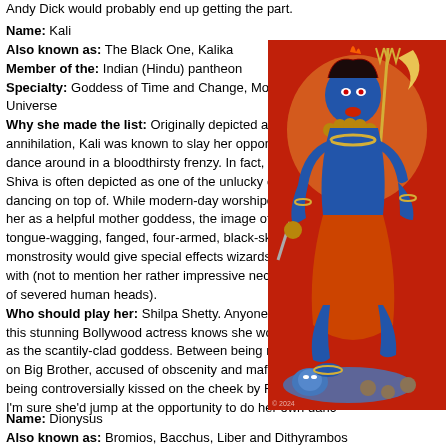Andy Dick would probably end up getting the part.
Name: Kali
Also known as: The Black One, Kalika
Member of the: Indian (Hindu) pantheon
Specialty: Goddess of Time and Change, Mother of the Universe
Why she made the list: Originally depicted as a force of annihilation, Kali was known to slay her opponents and then dance around in a bloodthirsty frenzy. In fact, her husband Shiva is often depicted as one of the unlucky corpses she's dancing on top of. While modern-day worshipers often view her as a helpful mother goddess, the image of Kali as a tongue-wagging, fanged, four-armed, black-skinned monstrosity would give special effects wizards plenty to work with (not to mention her rather impressive necklace made up of severed human heads).
Who should play her: Shilpa Shetty. Anyone who's seen this stunning Bollywood actress knows she would be perfect as the scantily-clad goddess. Between being racially bullied on Big Brother, accused of obscenity and mafia ties, and being controversially kissed on the cheek by Richard Gere, I'm sure she'd jump at the opportunity to do her own danc
[Figure (photo): Illustration of the Hindu goddess Kali depicted with blue skin, four arms, holding a trident, wearing a garland of heads, standing over a prone figure, against a red background.]
Name: Dionysus
Also known as: Bromios, Bacchus, Liber and Dithyrambos